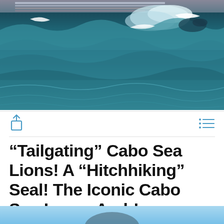[Figure (photo): Ocean waves with choppy water and what appears to be a marine animal (sea lion or seal) visible at the surface. A vessel or dock structure is partially visible at the top edge. The water is teal/dark blue-green.]
“Tailgating” Cabo Sea Lions! A “Hitchhiking” Seal! The Iconic Cabo San Lucas Arch!
[Figure (photo): Partial view of a second photo showing a light blue sky background, cropped at bottom of page.]